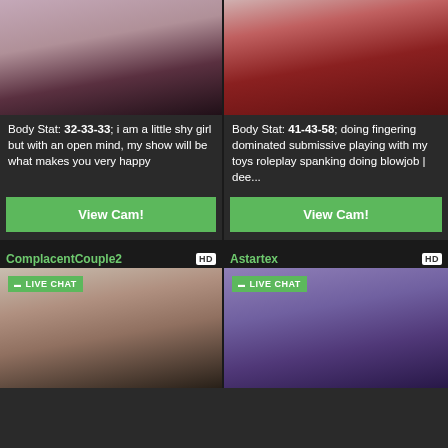[Figure (photo): Photo of a woman from behind wearing black underwear near a pink tufted headboard]
[Figure (photo): Photo of a woman in a red bodysuit/lingerie posed on a white furry surface]
Body Stat: 32-33-33; i am a little shy girl but with an open mind, my show will be what makes you very happy
Body Stat: 41-43-58; doing fingering dominated submissive playing with my toys roleplay spanking doing blowjob | dee...
View Cam!
View Cam!
ComplacentCouple2
Astartex
[Figure (photo): LIVE CHAT - Photo of a young man with styled dark hair, wearing a yellow and black jacket]
[Figure (photo): LIVE CHAT - Photo of a woman in a purple-lit room wearing a collar, with some equipment visible]